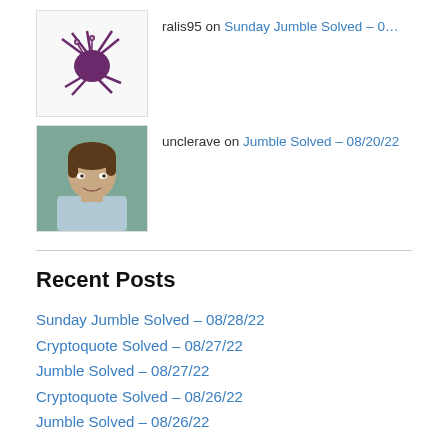ralis95 on Sunday Jumble Solved – 0…
[Figure (illustration): Purple spider-like creature avatar on white background]
unclerave on Jumble Solved – 08/20/22
[Figure (photo): Photo of a young person with brown hair wearing a light blue shirt]
Recent Posts
Sunday Jumble Solved – 08/28/22
Cryptoquote Solved – 08/27/22
Jumble Solved – 08/27/22
Cryptoquote Solved – 08/26/22
Jumble Solved – 08/26/22
[Figure (illustration): Black Lives Matter logo: raised fist on yellow background with text BLACK LIVES MATTER]